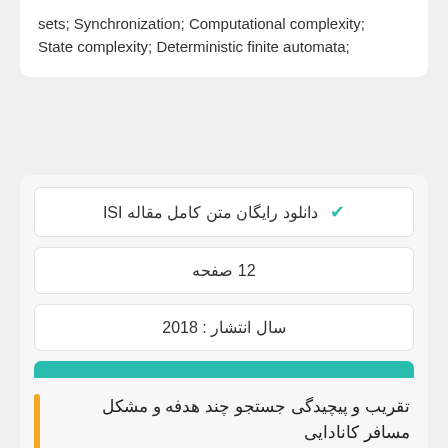sets; Synchronization; Computational complexity; State complexity; Deterministic finite automata;
دانلود رایگان متن کامل مقاله ISI
12 صفحه
سال انتشار : 2018
✔ سفارش ترجمه
تقریب و پیچیدگی جستجو چند هدفه و مشکل مسافر کانادایی